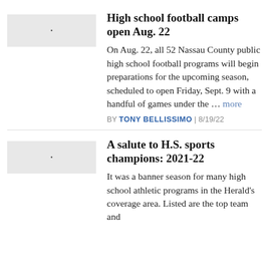[Figure (photo): Thumbnail image placeholder (light gray rectangle with a dot)]
High school football camps open Aug. 22
On Aug. 22, all 52 Nassau County public high school football programs will begin preparations for the upcoming season, scheduled to open Friday, Sept. 9 with a handful of games under the ... more
BY TONY BELLISSIMO | 8/19/22
[Figure (photo): Thumbnail image placeholder (light gray rectangle with a dot)]
A salute to H.S. sports champions: 2021-22
It was a banner season for many high school athletic programs in the Herald's coverage area. Listed are the top team and